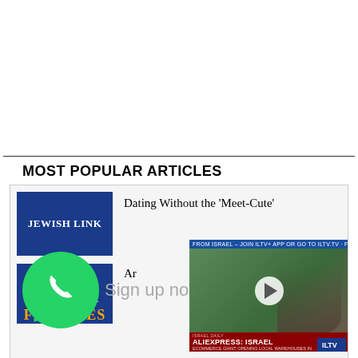MOST POPULAR ARTICLES
[Figure (screenshot): Article thumbnail: Jewish Link logo on blue background]
Dating Without the ‘Meet-Cute’
[Figure (illustration): WhatsApp icon with phone logo on green background, overlaid with 'Sign up no...' text]
[Figure (screenshot): Video overlay with ticker 'FROM ISRAEL - JOIN ILTV+ APP OR GO TO ILTV.TV - FOR MORE NEWS AND CO...' and video thumbnail with play button; lower bar shows ALIEXPRESS: ISRAEL headline with ILTV logo]
[Figure (screenshot): Article thumbnail: Jewish Link text with FEATURES in gold/orange letters on blue background]
Ar...